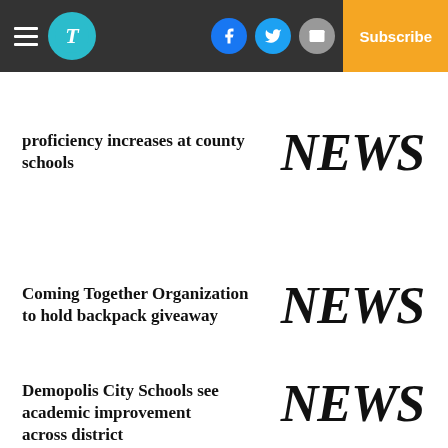Navigation header with hamburger menu, logo, social icons (Facebook, Twitter, Email), and Subscribe button
proficiency increases at county schools
[Figure (other): NEWS placeholder image in bold italic serif font]
Coming Together Organization to hold backpack giveaway
[Figure (other): NEWS placeholder image in bold italic serif font]
Demopolis City Schools see academic improvement across district
[Figure (other): NEWS placeholder image in bold italic serif font (partially clipped at bottom)]